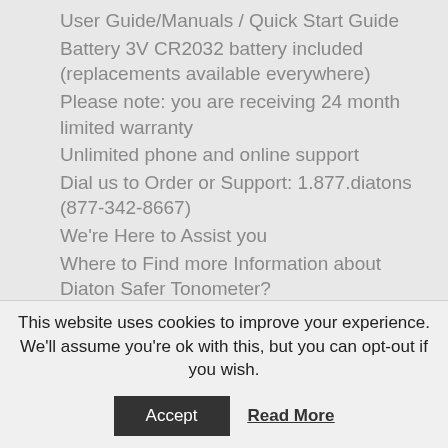User Guide/Manuals / Quick Start Guide
Battery 3V CR2032 battery included (replacements available everywhere)
Please note: you are receiving 24 month limited warranty
Unlimited phone and online support
Dial us to Order or Support: 1.877.diatons (877-342-8667)
We're Here to Assist you
Where to Find more Information about Diaton Safer Tonometer?
This website uses cookies to improve your experience. We'll assume you're ok with this, but you can opt-out if you wish.
Accept
Read More